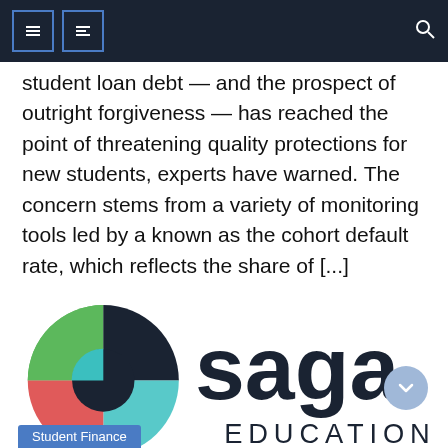Navigation bar with menu icons and search
student loan debt — and the prospect of outright forgiveness — has reached the point of threatening quality protections for new students, experts have warned. The concern stems from a variety of monitoring tools led by a known as the cohort default rate, which reflects the share of [...]
[Figure (logo): Saga Education logo — stylized S circle mark in dark navy, teal, green, and coral/red quadrants, with 'saga EDUCATION' wordmark in dark navy]
Student Finance